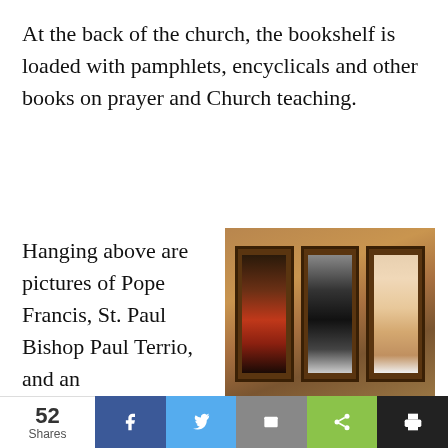At the back of the church, the bookshelf is loaded with pamphlets, encyclicals and other books on prayer and Church teaching.
Hanging above are pictures of Pope Francis, St. Paul Bishop Paul Terrio, and an
[Figure (photo): Three framed portraits hanging on a wooden wall: Bishop Terrio, St Kateri, and Pope Francis]
Photos of Bishop Terrio, St Kateri and Pope Francis adorn the walls inside Goodfish Lake Parish. Kyle Greenham, Grandin Media
52 Shares